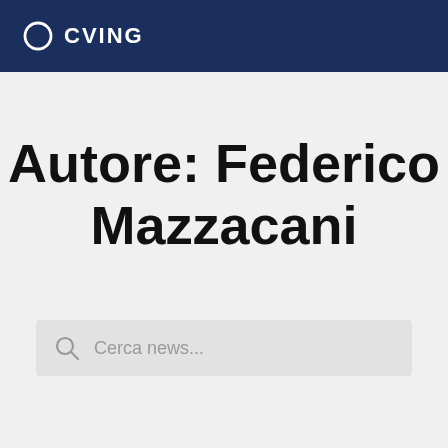CVING
Autore: Federico Mazzacani
Cerca news...